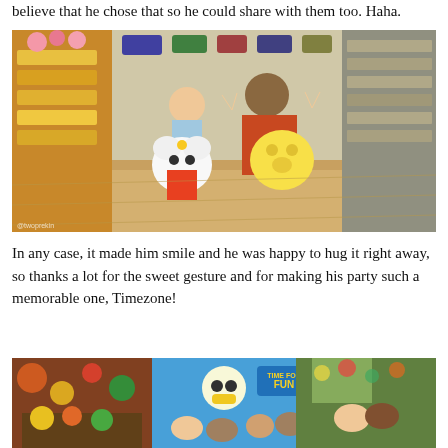believe that he chose that so he could share with them too. Haha.
[Figure (photo): A man in an orange jacket crouching beside a young child in a store aisle. They are posing with large stuffed animals - a Hello Kitty plush and a yellow character plush. Store shelves with snacks and toys are visible in the background. A watermark is visible in the bottom left corner.]
In any case, it made him smile and he was happy to hug it right away, so thanks a lot for the sweet gesture and for making his party such a memorable one, Timezone!
[Figure (photo): A collage or wide photo showing a group of people at what appears to be a Timezone arcade/entertainment venue. A 'Time for Fun' sign is visible. Multiple people are smiling at the camera.]